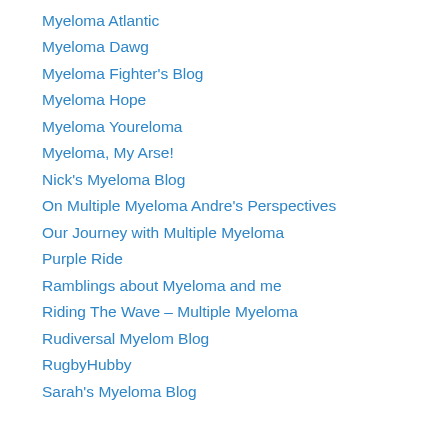Myeloma Atlantic
Myeloma Dawg
Myeloma Fighter's Blog
Myeloma Hope
Myeloma Youreloma
Myeloma, My Arse!
Nick's Myeloma Blog
On Multiple Myeloma Andre's Perspectives
Our Journey with Multiple Myeloma
Purple Ride
Ramblings about Myeloma and me
Riding The Wave – Multiple Myeloma
Rudiversal Myelom Blog
RugbyHubby
Sarah's Myeloma Blog